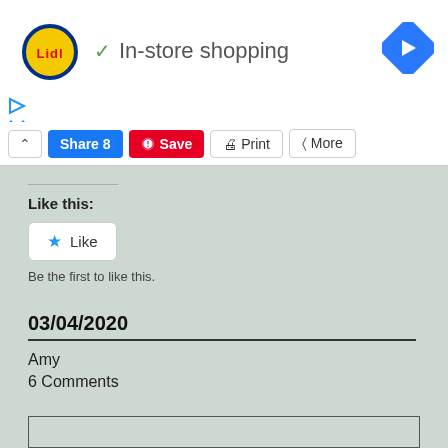[Figure (logo): Lidl logo - yellow circle with blue border and red text LIDL]
✓ In-store shopping
[Figure (other): Blue diamond navigation arrow icon pointing right]
[Figure (other): Small play icon and close X icon in blue]
Share 8
Save
Print
More
Like this:
Like
Be the first to like this.
03/04/2020
Amy
6 Comments